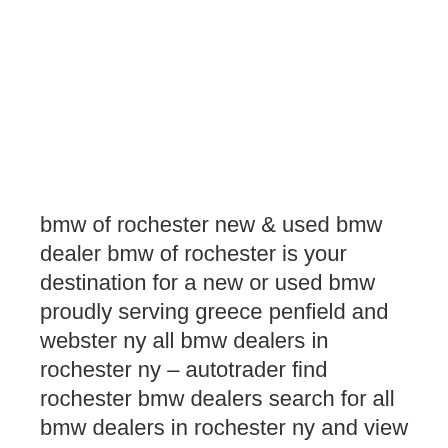bmw of rochester new & used bmw dealer bmw of rochester is your destination for a new or used bmw proudly serving greece penfield and webster ny all bmw dealers in rochester ny – autotrader find rochester bmw dealers search for all bmw dealers in rochester ny and view their inventory at autotrader new & used bmw dealer in rochester ny browse bmw inventory in rochester ny stop by bmw of rochester today and test drive a new bmw bmw of rochester rochester ny read reviews by dealership customers a map and directions contact the dealer view inventory hours of operation and dealership photos and video learn about bmw of rochester dealership in rochester ny carfax find